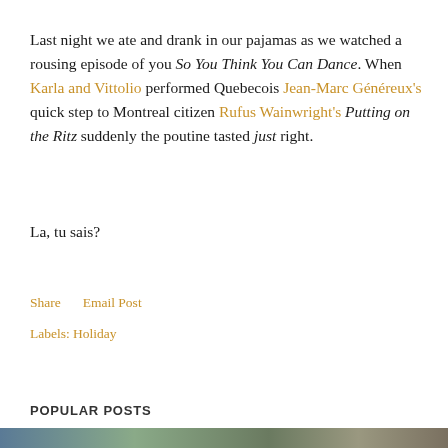Last night we ate and drank in our pajamas as we watched a rousing episode of you So You Think You Can Dance. When Karla and Vittolio performed Quebecois Jean-Marc Généreux's quick step to Montreal citizen Rufus Wainwright's Putting on the Ritz suddenly the poutine tasted just right.
La, tu sais?
Share   Email Post
Labels: Holiday
POPULAR POSTS
[Figure (photo): Partial photo strip visible at bottom of page, appears to show an outdoor scene]